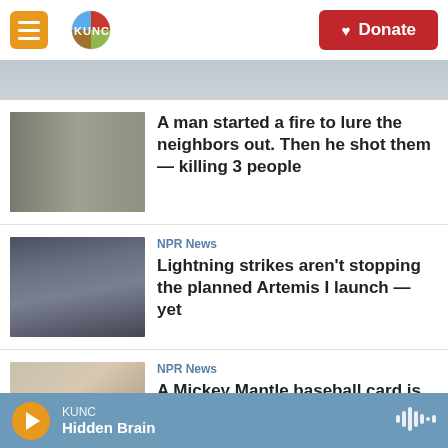KUNC — NPR News App Header with Donate button
A man started a fire to lure the neighbors out. Then he shot them — killing 3 people
NPR News
Lightning strikes aren't stopping the planned Artemis I launch — yet
NPR News
A Mickey Mantle baseball card is now the most expensive piece of sports memorabilia
KUNC — Hidden Brain